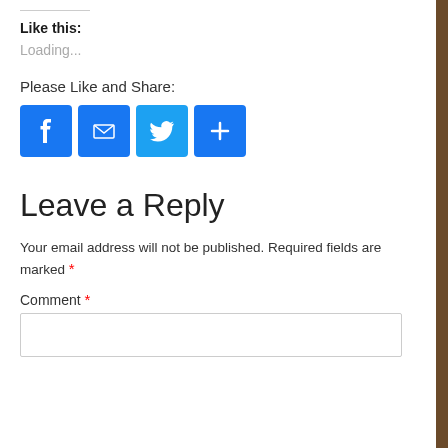Like this:
Loading...
Please Like and Share:
[Figure (other): Social sharing buttons: Facebook, Email, Twitter, and More (+)]
Leave a Reply
Your email address will not be published. Required fields are marked *
Comment *